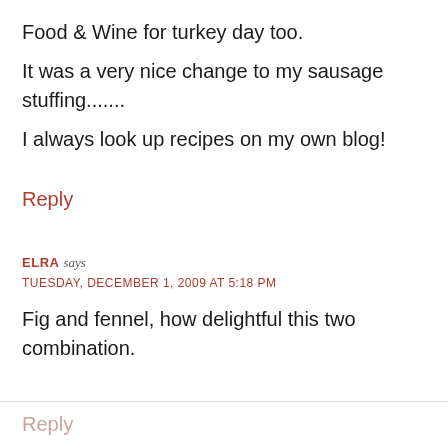Food & Wine for turkey day too.
It was a very nice change to my sausage stuffing.......
I always look up recipes on my own blog!
Reply
ELRA says
TUESDAY, DECEMBER 1, 2009 AT 5:18 PM
Fig and fennel, how delightful this two combination.
Reply